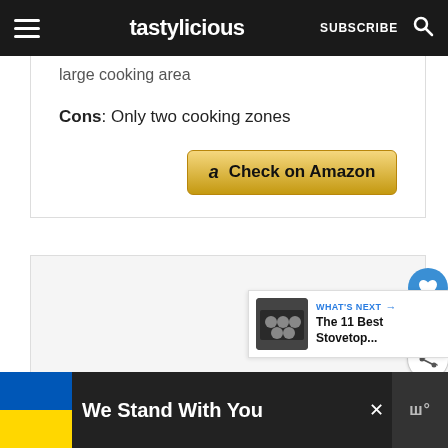tastylicious — SUBSCRIBE
large cooking area
Cons: Only two cooking zones
[Figure (other): Check on Amazon button with Amazon logo]
[Figure (other): Heart/like button (count: 2) and share button on right side]
[Figure (other): What's Next panel: The 11 Best Stovetop... with thumbnail]
[Figure (other): Advertisement banner: We Stand With You with Ukraine flag and close button]